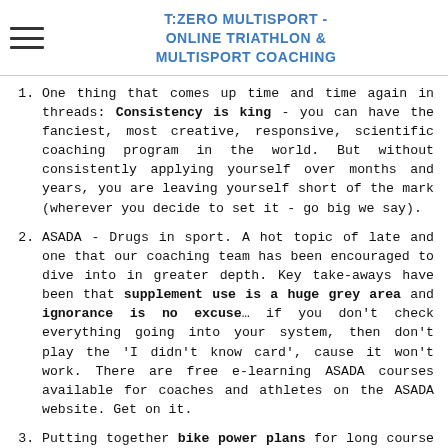T:ZERO MULTISPORT - ONLINE TRIATHLON & MULTISPORT COACHING
One thing that comes up time and time again in threads: Consistency is king - you can have the fanciest, most creative, responsive, scientific coaching program in the world. But without consistently applying yourself over months and years, you are leaving yourself short of the mark (wherever you decide to set it - go big we say).
ASADA - Drugs in sport. A hot topic of late and one that our coaching team has been encouraged to dive into in greater depth. Key take-aways have been that supplement use is a huge grey area and ignorance is no excuse... if you don't check everything going into your system, then don't play the 'I didn't know card', cause it won't work. There are free e-learning ASADA courses available for coaches and athletes on the ASADA website. Get on it.
Putting together bike power plans for long course races